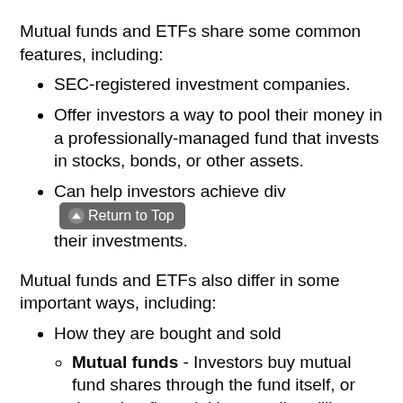Mutual funds and ETFs share some common features, including:
SEC-registered investment companies.
Offer investors a way to pool their money in a professionally-managed fund that invests in stocks, bonds, or other assets.
Can help investors achieve diversification of their investments.
Mutual funds and ETFs also differ in some important ways, including:
How they are bought and sold
Mutual funds - Investors buy mutual fund shares through the fund itself, or through a financial intermediary (like a broker). Shares are "redeemable," meaning that